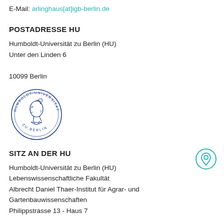E-Mail: arlinghaus[at]igb-berlin.de
POSTADRESSE HU
Humboldt-Universität zu Berlin (HU)
Unter den Linden 6

10099 Berlin
[Figure (logo): Humboldt-Universität zu Berlin circular seal/logo in blue, featuring a profile portrait in the center surrounded by text 'HUMBOLDT-UNIVERSITÄT · ZU BERLIN ·']
SITZ AN DER HU
[Figure (other): Location pin icon in teal/cyan circle]
Humboldt-Universität zu Berlin (HU)
Lebenswissenschaftliche Fakultät
Albrecht Daniel Thaer-Institut für Agrar- und Gartenbauwissenschaften
Philippstrasse 13 - Haus 7